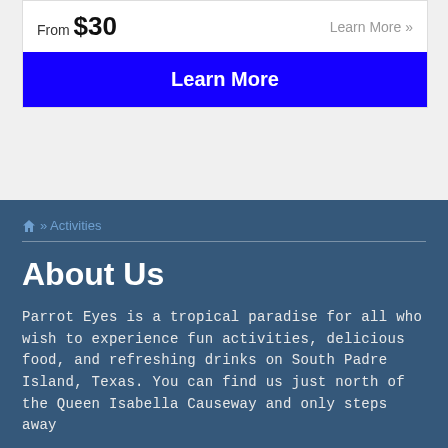From $30
Learn More »
Learn More
🏠 » Activities
About Us
Parrot Eyes is a tropical paradise for all who wish to experience fun activities, delicious food, and refreshing drinks on South Padre Island, Texas. You can find us just north of the Queen Isabella Causeway and only steps away